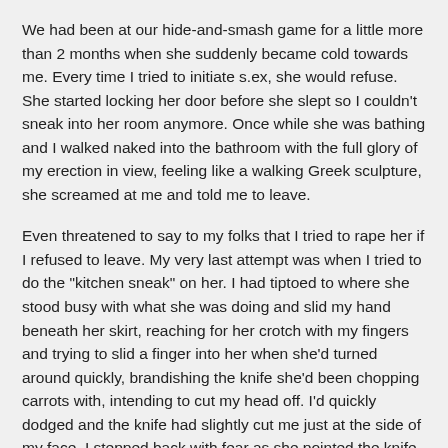We had been at our hide-and-smash game for a little more than 2 months when she suddenly became cold towards me. Every time I tried to initiate s.ex, she would refuse. She started locking her door before she slept so I couldn't sneak into her room anymore. Once while she was bathing and I walked naked into the bathroom with the full glory of my erection in view, feeling like a walking Greek sculpture, she screamed at me and told me to leave.
Even threatened to say to my folks that I tried to rape her if I refused to leave. My very last attempt was when I tried to do the "kitchen sneak" on her. I had tiptoed to where she stood busy with what she was doing and slid my hand beneath her skirt, reaching for her crotch with my fingers and trying to slid a finger into her when she'd turned around quickly, brandishing the knife she'd been chopping carrots with, intending to cut my head off. I'd quickly dodged and the knife had slightly cut me just at the side of my face. I stepped back with fear as she pointed the knife at me with a scowl on her face to show she had meant it.
I was angry, but at the same time, didn't want to do anything that would attract my parent's attention towards Chioma and I. After that incident, I never attempted to touch her again. It wasn't until a